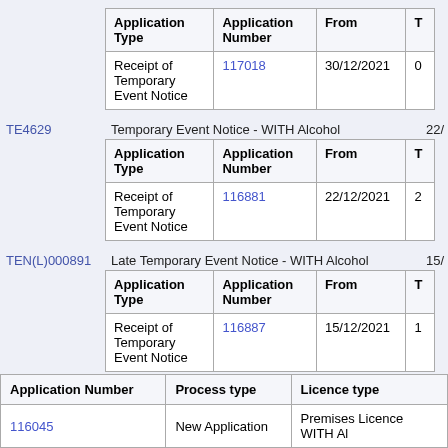| Application Type | Application Number | From | T |
| --- | --- | --- | --- |
| Receipt of Temporary Event Notice | 117018 | 30/12/2021 | 0 |
TE4629  Temporary Event Notice - WITH Alcohol  22/...
| Application Type | Application Number | From | T |
| --- | --- | --- | --- |
| Receipt of Temporary Event Notice | 116881 | 22/12/2021 | 2 |
TEN(L)000891  Late Temporary Event Notice - WITH Alcohol  15/...
| Application Type | Application Number | From | T |
| --- | --- | --- | --- |
| Receipt of Temporary Event Notice | 116887 | 15/12/2021 | 1 |
| Application Number | Process type | Licence type |
| --- | --- | --- |
| 116045 | New Application | Premises Licence WITH Al... |